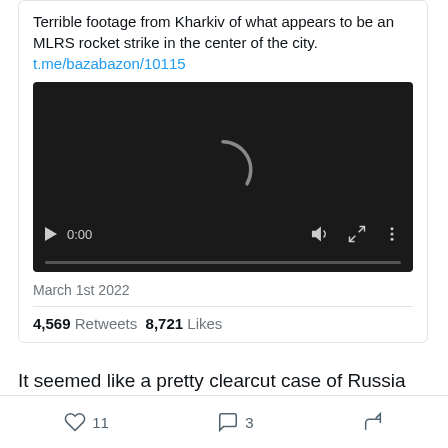Terrible footage from Kharkiv of what appears to be an MLRS rocket strike in the center of the city. t.me/bazabazon/10115
[Figure (screenshot): Embedded video player showing a dark/loading state with a spinner icon, video controls showing 0:00, and a progress bar at the bottom.]
March 1st 2022
4,569 Retweets  8,721 Likes
It seemed like a pretty clearcut case of Russia trying to
11  3